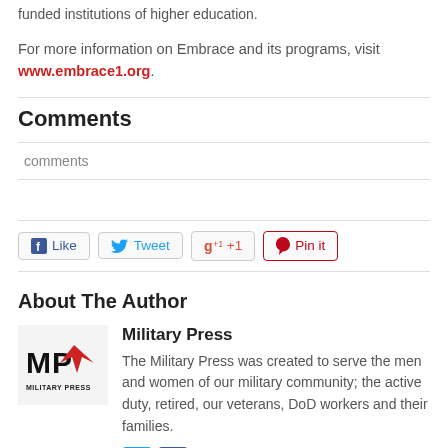funded institutions of higher education.
For more information on Embrace and its programs, visit www.embrace1.org.
Comments
comments
[Figure (other): Social sharing buttons: Like, Tweet, +1, Pin it]
About The Author
[Figure (logo): Military Press logo with eagle graphic and text MILITARY PRESS]
Military Press
The Military Press was created to serve the men and women of our military community; the active duty, retired, our veterans, DoD workers and their families.
[Figure (other): Twitter and Facebook social icons]